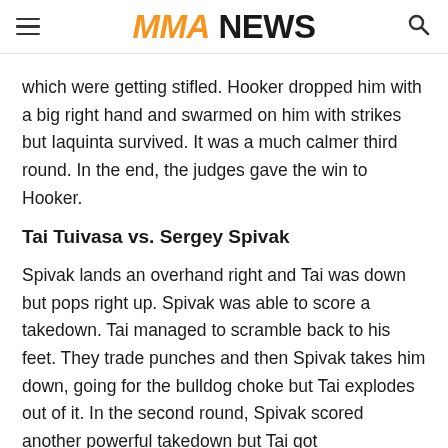MMA NEWS
which were getting stifled. Hooker dropped him with a big right hand and swarmed on him with strikes but Iaquinta survived. It was a much calmer third round. In the end, the judges gave the win to Hooker.
Tai Tuivasa vs. Sergey Spivak
Spivak lands an overhand right and Tai was down but pops right up. Spivak was able to score a takedown. Tai managed to scramble back to his feet. They trade punches and then Spivak takes him down, going for the bulldog choke but Tai explodes out of it. In the second round, Spivak scored another powerful takedown but Tai got